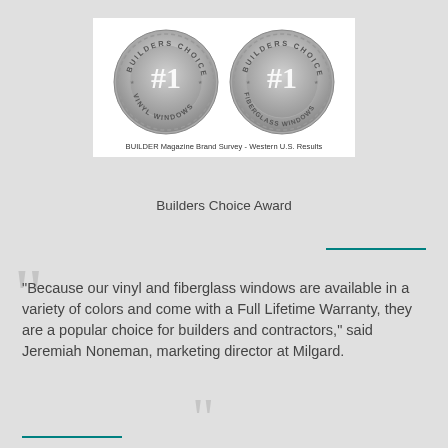[Figure (illustration): Two silver Builders Choice #1 award medals side by side — left medal reads 'VINYL WINDOWS', right reads 'FIBERGLASS WINDOWS'. Below the medals: 'BUILDER Magazine Brand Survey - Western U.S. Results'.]
Builders Choice Award
“Because our vinyl and fiberglass windows are available in a variety of colors and come with a Full Lifetime Warranty, they are a popular choice for builders and contractors,” said Jeremiah Noneman, marketing director at Milgard.